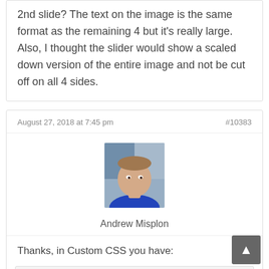2nd slide? The text on the image is the same format as the remaining 4 but it’s really large. Also, I thought the slider would show a scaled down version of the entire image and not be cut off on all 4 sides.
August 27, 2018 at 7:45 pm
#10383
[Figure (photo): Profile photo of Andrew Misplon, a man in a blue shirt]
Andrew Misplon
Thanks, in Custom CSS you have:
#wrapper {
    width: 500px;
    margin-left: 100